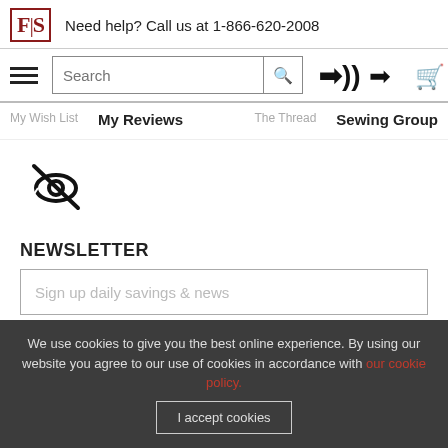F|S  Need help? Call us at 1-866-620-2008
[Figure (screenshot): Navigation bar with hamburger menu, search box with magnifying glass icon, login arrow icon, and shopping cart icon]
My Reviews
Sewing Group
[Figure (illustration): Eye with slash through it (hidden/invisible icon)]
NEWSLETTER
Sign up daily savings & news
SUBSCRIBE
We use cookies to give you the best online experience. By using our website you agree to our use of cookies in accordance with our cookie policy.
I accept cookies